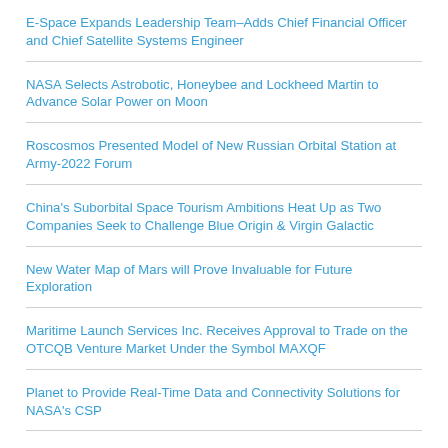E-Space Expands Leadership Team–Adds Chief Financial Officer and Chief Satellite Systems Engineer
NASA Selects Astrobotic, Honeybee and Lockheed Martin to Advance Solar Power on Moon
Roscosmos Presented Model of New Russian Orbital Station at Army-2022 Forum
China's Suborbital Space Tourism Ambitions Heat Up as Two Companies Seek to Challenge Blue Origin & Virgin Galactic
New Water Map of Mars will Prove Invaluable for Future Exploration
Maritime Launch Services Inc. Receives Approval to Trade on the OTCQB Venture Market Under the Symbol MAXQF
Planet to Provide Real-Time Data and Connectivity Solutions for NASA's CSP